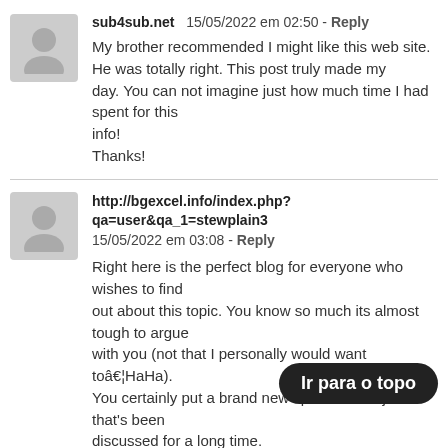sub4sub.net  15/05/2022 em 02:50 - Reply
My brother recommended I might like this web site. He was totally right. This post truly made my day. You can not imagine just how much time I had spent for this info!
Thanks!
http://bgexcel.info/index.php?qa=user&qa_1=stewplain3  15/05/2022 em 03:08 - Reply
Right here is the perfect blog for everyone who wishes to find out about this topic. You know so much its almost tough to argue with you (not that I personally would want toâ€¦HaHa). You certainly put a brand new spin on a subject that's been discussed for a long time. Wonderful stuff, just great!
Ir para o topo
discuss  15/05/2022 em 03:31 - Reply